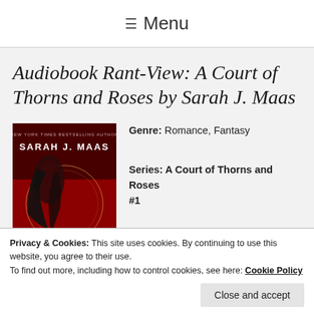≡ Menu
Audiobook Rant-View: A Court of Thorns and Roses by Sarah J. Maas
[Figure (photo): Book cover of A Court of Thorns and Roses by Sarah J. Maas — dark red background with silhouette of woman with dark hair and decorative circular motif, with 'New York Times Bestselling Author Sarah J. Maas' text at top and 'COURT' visible at bottom]
Genre: Romance, Fantasy
Series: A Court of Thorns and Roses #1
Privacy & Cookies: This site uses cookies. By continuing to use this website, you agree to their use.
To find out more, including how to control cookies, see here: Cookie Policy
Close and accept